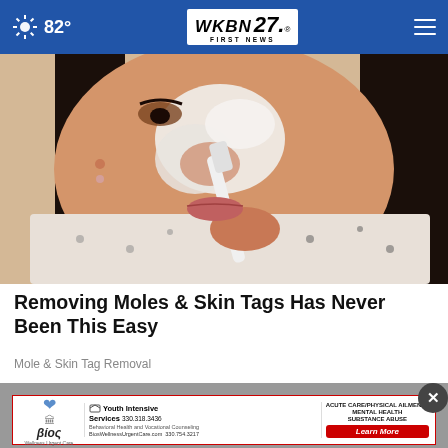82° WKBN FIRST NEWS 27
[Figure (photo): A woman applying white cream to her face/nose area with a toothbrush, close-up shot]
Removing Moles & Skin Tags Has Never Been This Easy
Mole & Skin Tag Removal
[Figure (other): Advertisement banner for Bios Wellness Urgent Care featuring Youth Intensive Services contact info and a Learn More button. Includes Acute Care/Physical Ailments, Mental Health, Substance Abuse services. Phone: 330.318.3436, 330.754.3217. Website: BiosWellnessUrgentCare.com]